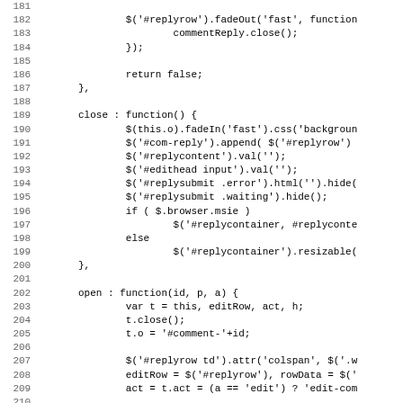Code listing lines 181-212, JavaScript source code